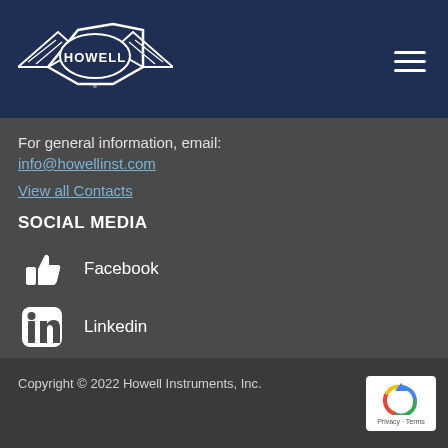[Figure (logo): Howell Instruments logo — white winged badge with HOWELL text on dark navy header bar]
For general information, email:
info@howellinst.com
View all Contacts
SOCIAL MEDIA
Facebook
Linkedin
Copyright © 2022 Howell Instruments, Inc.